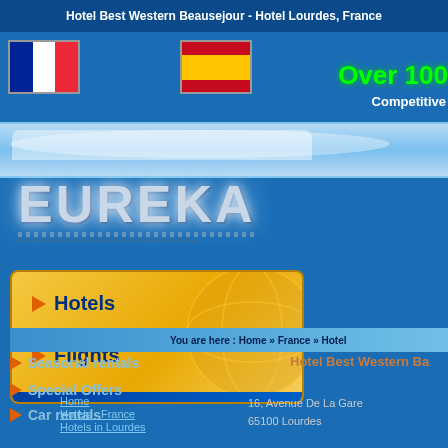Hotel Best Western Beausejour - Hotel Lourdes, France
[Figure (illustration): French flag and Spanish flag icons; 'Over 100' in green text; 'Competitive' in white text; Eureka travel logo with metallic text and dotted underline on blue background]
[Figure (illustration): Gold navigation box with Hotels and Flights menu items with orange arrows, and globe graphic overlay]
Hotels
Flights
Car rentals
You are here : Home » France » Hotel
Seasonal rentals
Special Offers
Hotel Best Western Ba
Home
Hotels - France
Hotels in Lourdes
16, Avenue De La Gare
65100 Lourdes